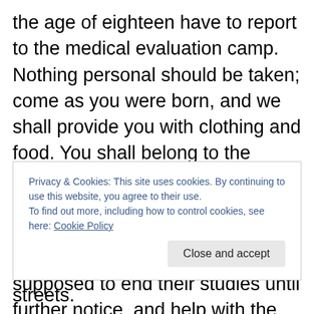the age of eighteen have to report to the medical evaluation camp. Nothing personal should be taken; come as you were born, and we shall provide you with clothing and food. You shall belong to the government and will wear only our uniform and will eat what we give you to eat. The children between the age of thirteen and sixteen are supposed to end their studies until further notice, and help with the arms and amunitions department and the related industries. The citizens are advised not to use televisions and keep the radios supplied by the government and keep the frequency to only one area. The slaves are to be sent
Privacy & Cookies: This site uses cookies. By continuing to use this website, you agree to their use.
To find out more, including how to control cookies, see here: Cookie Policy
streets.